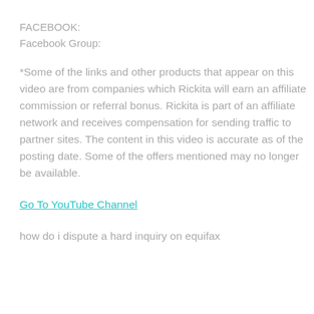FACEBOOK:
Facebook Group:
*Some of the links and other products that appear on this video are from companies which Rickita will earn an affiliate commission or referral bonus. Rickita is part of an affiliate network and receives compensation for sending traffic to partner sites. The content in this video is accurate as of the posting date. Some of the offers mentioned may no longer be available.
Go To YouTube Channel
how do i dispute a hard inquiry on equifax